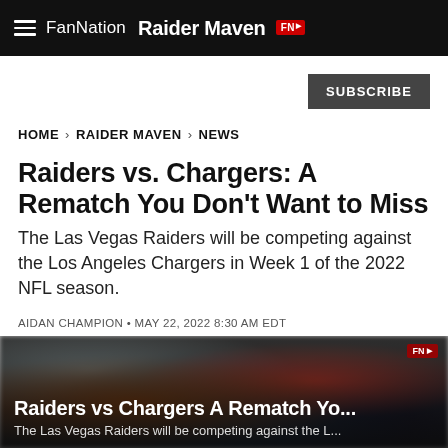FanNation  Raider Maven
SUBSCRIBE
HOME > RAIDER MAVEN > NEWS
Raiders vs. Chargers: A Rematch You Don't Want to Miss
The Las Vegas Raiders will be competing against the Los Angeles Chargers in Week 1 of the 2022 NFL season.
AIDAN CHAMPION • MAY 22, 2022 8:30 AM EDT
[Figure (photo): Football game image showing Raiders vs Chargers with overlay text: 'Raiders vs Chargers A Rematch Yo...' and 'The Las Vegas Raiders will be competing against the L...']